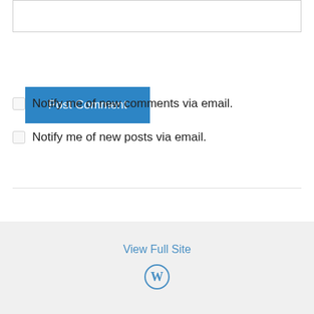(text input box)
Post Comment
Notify me of new comments via email.
Notify me of new posts via email.
View Full Site